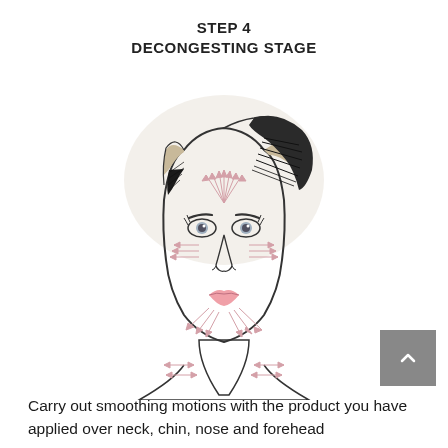STEP 4
DECONGESTING STAGE
[Figure (illustration): Line drawing of a woman's face and neck from the front, showing massage direction arrows: radiating lines from the center of the forehead upward and outward, horizontal arrows across the cheeks and under-eye area pointing outward, diagonal lines from chin/jaw area pointing downward-outward, and horizontal double-headed arrows across the neck area.]
Carry out smoothing motions with the product you have applied over neck, chin, nose and forehead